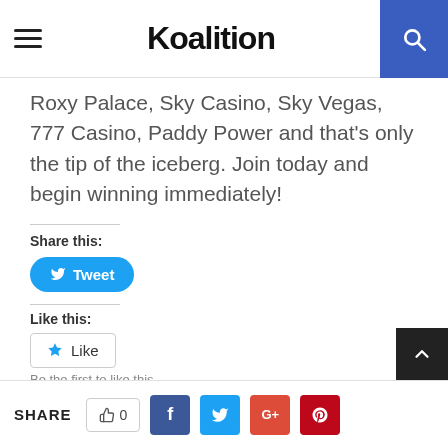Koalition
Roxy Palace, Sky Casino, Sky Vegas, 777 Casino, Paddy Power and that's only the tip of the iceberg. Join today and begin winning immediately!
Share this:
[Figure (screenshot): Blue Tweet button with Twitter bird icon]
Like this:
[Figure (screenshot): Like button with star icon]
Be the first to like this.
SHARE  0  f  (twitter)  G+  (pinterest)